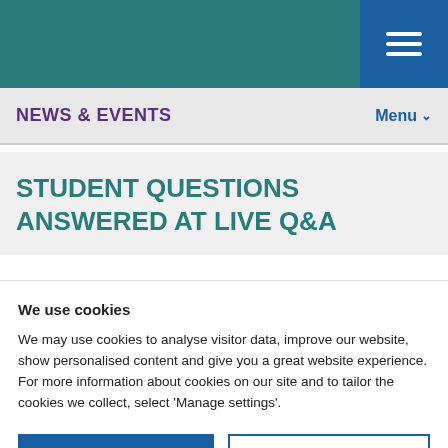NEWS & EVENTS   Menu
STUDENT QUESTIONS ANSWERED AT LIVE Q&A
We use cookies
We may use cookies to analyse visitor data, improve our website, show personalised content and give you a great website experience. For more information about cookies on our site and to tailor the cookies we collect, select 'Manage settings'.
I'm OK with cookies   Manage settings